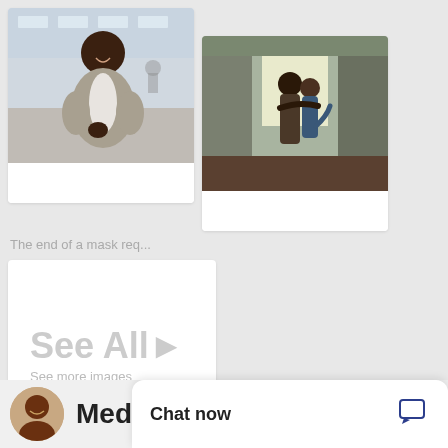[Figure (photo): Man smiling at airport holding phone, wearing grey blazer and white shirt]
[Figure (photo): Couple hugging in kitchen, backlit by window light]
The end of a mask req...
[Figure (other): See All button card with text 'See All' and 'See more images']
Medina D
Chat now